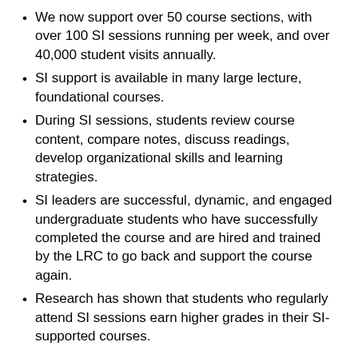We now support over 50 course sections, with over 100 SI sessions running per week, and over 40,000 student visits annually.
SI support is available in many large lecture, foundational courses.
During SI sessions, students review course content, compare notes, discuss readings, develop organizational skills and learning strategies.
SI leaders are successful, dynamic, and engaged undergraduate students who have successfully completed the course and are hired and trained by the LRC to go back and support the course again.
Research has shown that students who regularly attend SI sessions earn higher grades in their SI-supported courses.
Student Participation in Supplemental